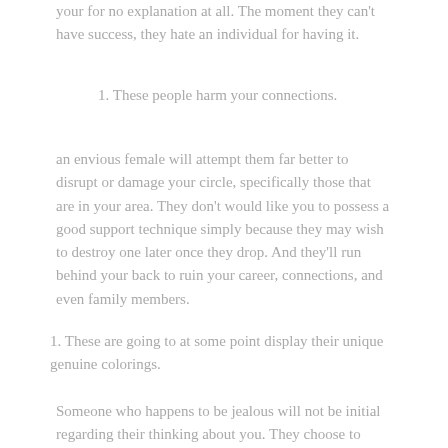your for no explanation at all. The moment they can't have success, they hate an individual for having it.
1. These people harm your connections.
an envious female will attempt them far better to disrupt or damage your circle, specifically those that are in your area. They don't would like you to possess a good support technique simply because they may wish to destroy one later once they drop. And they'll run behind your back to ruin your career, connections, and even family members.
1. These are going to at some point display their unique genuine colorings.
Someone who happens to be jealous will not be initial regarding their thinking about you. They choose to